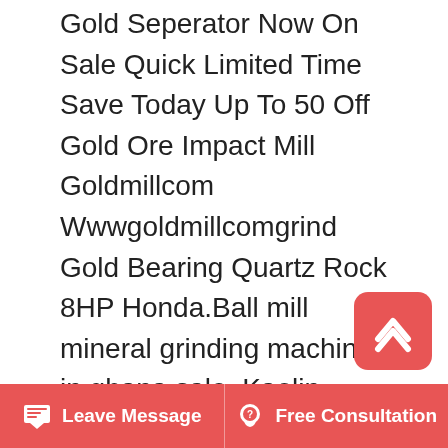Gold Seperator Now On Sale Quick Limited Time Save Today Up To 50 Off Gold Ore Impact Mill Goldmillcom Wwwgoldmillcomgrind Gold Bearing Quartz Rock 8HP Honda.Ball mill mineral grinding machines in ghana sale. Kaolin grinding mill in ghana jul 22 2017 sand grinding machine kaolin ball mill in ghana offers 15228 sand grinding machine products about 14 of these are mine mill 1 are grinding machines and 1 are other metal metallurgy machinery a wide variety of sand grinding machine options are available to you such as ball.
Ore Dressing Ore Grinding Ball Mill Mails For Sale
Ore Dressing Ball Mill Time To Particle Size Ball Mill. Ore Dressing Ball Mill Processing. Ball mill
[Figure (other): Red rounded square scroll-to-top button with white upward arrow/caret icon]
Leave Message   Free Consultation